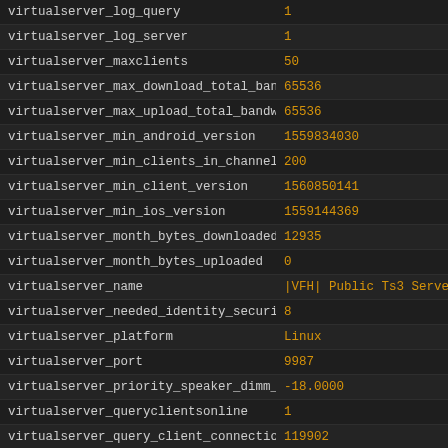| Key | Value |
| --- | --- |
| virtualserver_log_query | 1 |
| virtualserver_log_server | 1 |
| virtualserver_maxclients | 50 |
| virtualserver_max_download_total_bandw | 65536 |
| virtualserver_max_upload_total_bandwid | 65536 |
| virtualserver_min_android_version | 1559834030 |
| virtualserver_min_clients_in_channel_be | 200 |
| virtualserver_min_client_version | 1560850141 |
| virtualserver_min_ios_version | 1559144369 |
| virtualserver_month_bytes_downloaded | 12935 |
| virtualserver_month_bytes_uploaded | 0 |
| virtualserver_name | |VFH| Public Ts3 Server *www.viennafunhall.c |
| virtualserver_needed_identity_security_le | 8 |
| virtualserver_platform | Linux |
| virtualserver_port | 9987 |
| virtualserver_priority_speaker_dimm_mo | -18.0000 |
| virtualserver_queryclientsonline | 1 |
| virtualserver_query_client_connections | 119902 |
| virtualserver_reserved_slots | 3 |
| virtualserver_status | online |